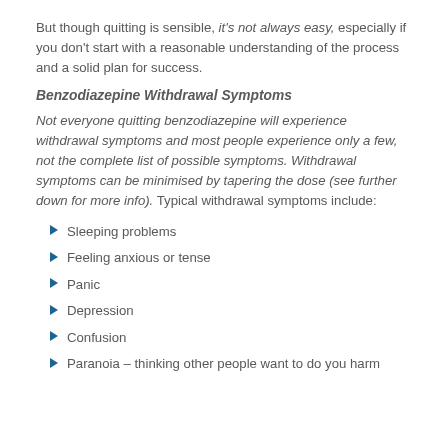But though quitting is sensible, it's not always easy, especially if you don't start with a reasonable understanding of the process and a solid plan for success.
Benzodiazepine Withdrawal Symptoms
Not everyone quitting benzodiazepine will experience withdrawal symptoms and most people experience only a few, not the complete list of possible symptoms. Withdrawal symptoms can be minimised by tapering the dose (see further down for more info). Typical withdrawal symptoms include:
Sleeping problems
Feeling anxious or tense
Panic
Depression
Confusion
Paranoia – thinking other people want to do you harm